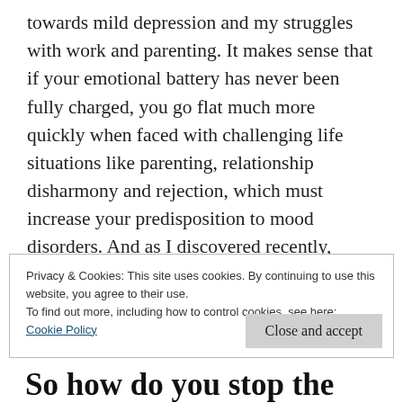towards mild depression and my struggles with work and parenting. It makes sense that if your emotional battery has never been fully charged, you go flat much more quickly when faced with challenging life situations like parenting, relationship disharmony and rejection, which must increase your predisposition to mood disorders. And as I discovered recently, difficult transitions like middle age – when there is more time to overthink the meaning of life – can also be a trigger.
The struggles of people who have suffered trauma are
Privacy & Cookies: This site uses cookies. By continuing to use this website, you agree to their use.
To find out more, including how to control cookies, see here:
Cookie Policy
Close and accept
So how do you stop the